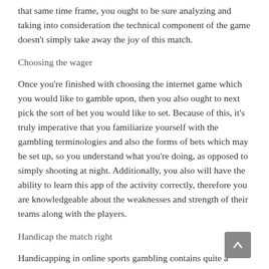that same time frame, you ought to be sure analyzing and taking into consideration the technical component of the game doesn't simply take away the joy of this match.
Choosing the wager
Once you're finished with choosing the internet game which you would like to gamble upon, then you also ought to next pick the sort of bet you would like to set. Because of this, it's truly imperative that you familiarize yourself with the gambling terminologies and also the forms of bets which may be set up, so you understand what you're doing, as opposed to simply shooting at night. Additionally, you also will have the ability to learn this app of the activity correctly, therefore you are knowledgeable about the weaknesses and strength of their teams along with the players.
Handicap the match right
Handicapping in online sports gambling contains quite a